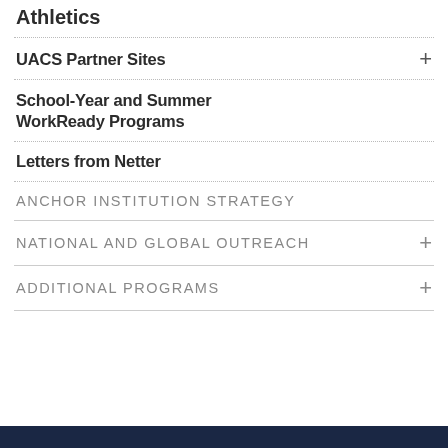Athletics
UACS Partner Sites
School-Year and Summer WorkReady Programs
Letters from Netter
ANCHOR INSTITUTION STRATEGY
NATIONAL AND GLOBAL OUTREACH
ADDITIONAL PROGRAMS